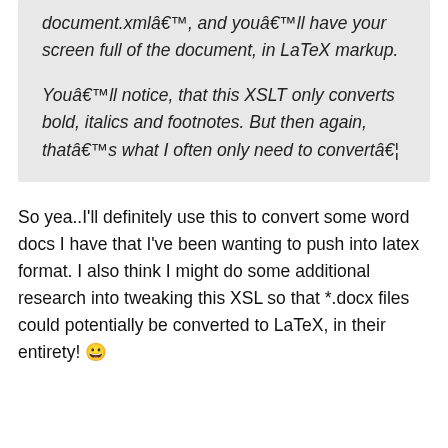document.xmlâ€™, and youâ€™ll have your screen full of the document, in LaTeX markup.

Youâ€™ll notice, that this XSLT only converts bold, italics and footnotes. But then again, thatâ€™s what I often only need to convertâ€¦
So yea..I'll definitely use this to convert some word docs I have that I've been wanting to push into latex format. I also think I might do some additional research into tweaking this XSL so that *.docx files could potentially be converted to LaTeX, in their entirety! 😀